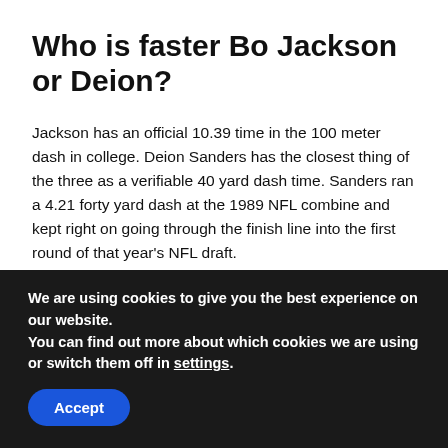Who is faster Bo Jackson or Deion?
Jackson has an official 10.39 time in the 100 meter dash in college. Deion Sanders has the closest thing of the three as a verifiable 40 yard dash time. Sanders ran a 4.21 forty yard dash at the 1989 NFL combine and kept right on going through the finish line into the first round of that year’s NFL draft.
How Fast Is Lamar Jackson
We are using cookies to give you the best experience on our website.
You can find out more about which cookies we are using or switch them off in settings.
Accept